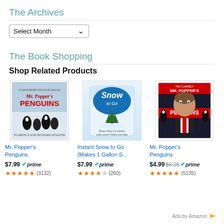The Archives
[Figure (screenshot): A dropdown widget labeled 'Select Month' with a downward arrow]
The Book Shopping
Shop Related Products
[Figure (screenshot): Amazon product widget showing three products: Mr. Popper's Penguins book ($7.99, Prime, 4.5 stars, 3132 reviews), Instant Snow to Go Makes 1 Gallon S... ($7.99, Prime, 4 stars, 260 reviews), Mr. Popper's Penguins DVD ($4.99 was $6.25, Prime, 4.5 stars, 5135 reviews)]
Ads by Amazon